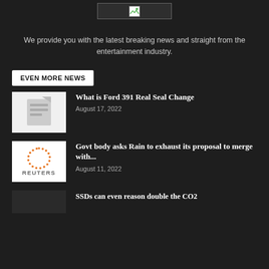[Figure (photo): Broken image placeholder at the top of the page, shown as a small image icon in a bordered box]
We provide you with the latest breaking news and straight from the entertainment industry.
EVEN MORE NEWS
[Figure (photo): Placeholder thumbnail image with document/file icon for the Ford 391 Real Seal Change article]
What is Ford 391 Real Seal Change
August 17, 2022
[Figure (logo): Reuters logo — orange dotted circle pattern above the word REUTERS in grey]
Govt body asks Rain to exhaust its proposal to merge with...
August 11, 2022
[Figure (photo): Partially visible dark thumbnail image at the bottom for the SSDs article]
SSDs can even reason double the CO2